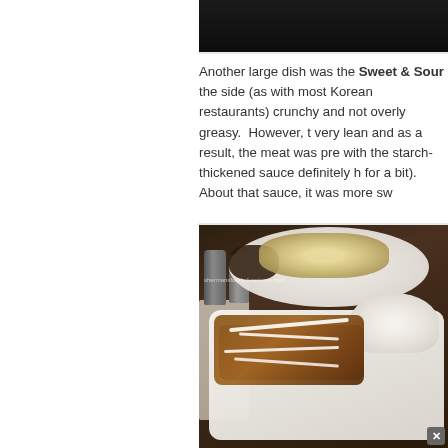[Figure (photo): Top portion of a food photo, dark background, likely showing a plate of food from above, cropped at the top of the page]
Another large dish was the Sweet & Sour... the side (as with most Korean restaurants)... crunchy and not overly greasy.  However, t... very lean and as a result, the meat was pre... with the starch-thickened sauce definitely h... for a bit).  About that sauce, it was more sw...
[Figure (photo): Food photo showing Korean dishes on a wooden table: in the background a white oval plate with fried rice and a dark side dish; in the foreground a white square plate with a fried cutlet covered in red sauce drizzled with white sauce, served alongside a mound of steamed white rice. Salt and pepper shakers visible. A watermark reads shermansfoodadventures.com. A close/X button is visible in the bottom right corner.]